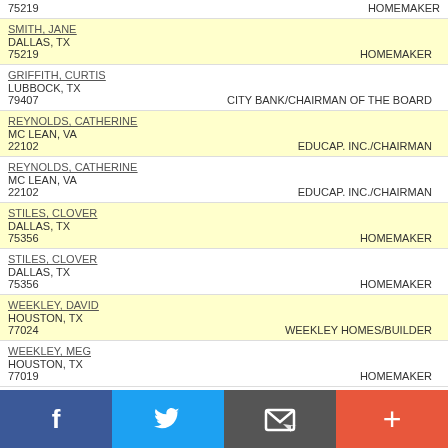75219 / HOMEMAKER
SMITH, JANE / DALLAS, TX / 75219 / HOMEMAKER
GRIFFITH, CURTIS / LUBBOCK, TX / 79407 / CITY BANK/CHAIRMAN OF THE BOARD
REYNOLDS, CATHERINE / MC LEAN, VA / 22102 / EDUCAP. INC./CHAIRMAN
REYNOLDS, CATHERINE / MC LEAN, VA / 22102 / EDUCAP. INC./CHAIRMAN
STILES, CLOVER / DALLAS, TX / 75356 / HOMEMAKER
STILES, CLOVER / DALLAS, TX / 75356 / HOMEMAKER
WEEKLEY, DAVID / HOUSTON, TX / 77024 / WEEKLEY HOMES/BUILDER
WEEKLEY, MEG / HOUSTON, TX / 77019 / HOMEMAKER